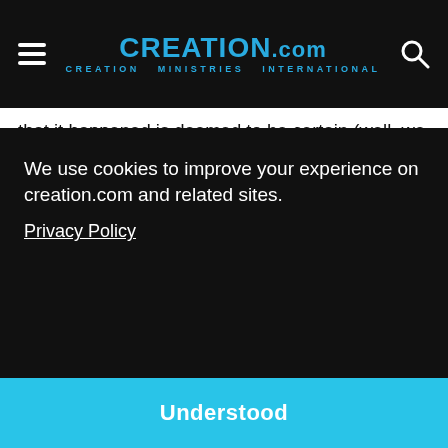CREATION.com — CREATION MINISTRIES INTERNATIONAL
that it happened is deemed to be certain (well, we have living cells, don't we?!) and it is taught that way in universities around the world. For a thorough refutation of the idea that life could form by natural processes, see the Origin of life articles.

However, something like this must have happened, because we have plants, for example, which are
risen
st
ed?
to do
s
about material explanations, and just you remember
We use cookies to improve your experience on creation.com and related sites.
Privacy Policy
Understood